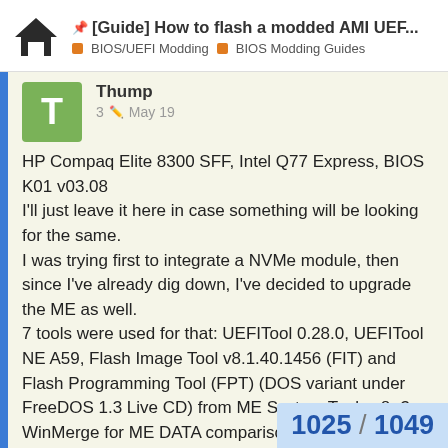[Guide] How to flash a modded AMI UEF… | BIOS/UEFI Modding | BIOS Modding Guides
Thump   3  May 19
HP Compaq Elite 8300 SFF, Intel Q77 Express, BIOS K01 v03.08
I'll just leave it here in case something will be looking for the same.
I was trying first to integrate a NVMe module, then since I've already dig down, I've decided to upgrade the ME as well.
7 tools were used for that: UEFITool 0.28.0, UEFITool NE A59, Flash Image Tool v8.1.40.1456 (FIT) and Flash Programming Tool (FPT) (DOS variant under FreeDOS 1.3 Live CD) from ME System Tools v8 r3, WinMerge for ME DATA comparison, Hex Editor Neo Profe
1025 / 1049